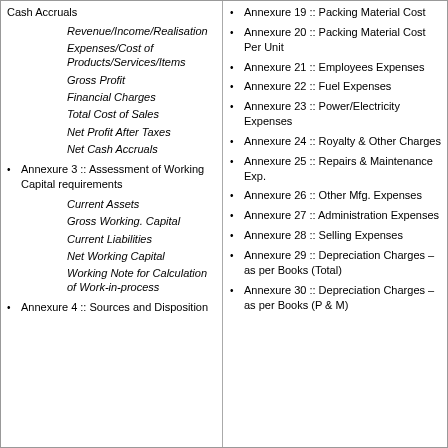Cash Accruals
Revenue/Income/Realisation
Expenses/Cost of Products/Services/Items
Gross Profit
Financial Charges
Total Cost of Sales
Net Profit After Taxes
Net Cash Accruals
Annexure 3 :: Assessment of Working Capital requirements
Current Assets
Gross Working. Capital
Current Liabilities
Net Working Capital
Working Note for Calculation of Work-in-process
Annexure 4 :: Sources and Disposition
Annexure 19 :: Packing Material Cost
Annexure 20 :: Packing Material Cost Per Unit
Annexure 21 :: Employees Expenses
Annexure 22 :: Fuel Expenses
Annexure 23 :: Power/Electricity Expenses
Annexure 24 :: Royalty & Other Charges
Annexure 25 :: Repairs & Maintenance Exp.
Annexure 26 :: Other Mfg. Expenses
Annexure 27 :: Administration Expenses
Annexure 28 :: Selling Expenses
Annexure 29 :: Depreciation Charges – as per Books (Total)
Annexure 30 :: Depreciation Charges – as per Books (P & M)